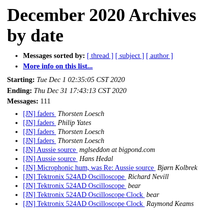December 2020 Archives by date
Messages sorted by: [ thread ] [ subject ] [ author ]
More info on this list...
Starting: Tue Dec 1 02:35:05 CST 2020
Ending: Thu Dec 31 17:43:13 CST 2020
Messages: 111
[JN] faders   Thorsten Loesch
[JN] faders   Philip Yates
[JN] faders   Thorsten Loesch
[JN] faders   Thorsten Loesch
[JN] Aussie source   mglseddon at bigpond.com
[JN] Aussie source   Hans Hedal
[JN] Microphonic hum, was Re: Aussie source   Bjørn Kolbrek
[JN] Tektronix 524AD Oscilloscope   Richard Nevill
[JN] Tektronix 524AD Oscilloscope   bear
[JN] Tektronix 524AD Oscilloscope Clock   bear
[JN] Tektronix 524AD Oscilloscope Clock   Raymond Keams